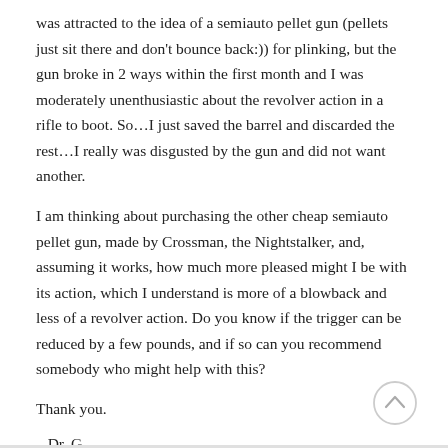was attracted to the idea of a semiauto pellet gun (pellets just sit there and don't bounce back:)) for plinking, but the gun broke in 2 ways within the first month and I was moderately unenthusiastic about the revolver action in a rifle to boot. So…I just saved the barrel and discarded the rest…I really was disgusted by the gun and did not want another.
I am thinking about purchasing the other cheap semiauto pellet gun, made by Crossman, the Nightstalker, and, assuming it works, how much more pleased might I be with its action, which I understand is more of a blowback and less of a revolver action. Do you know if the trigger can be reduced by a few pounds, and if so can you recommend somebody who might help with this?
Thank you.
– Dr. G.
Log in to Reply